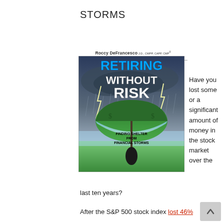STORMS
[Figure (illustration): Book cover for 'Retiring Without Risk: Finding Shelter From Financial Storms' by Roccy DeFrancesco J.D., CWPP, CAPP, CMP, Founder of The Wealth Preservation Institute. Cover shows a green umbrella held up against a stormy sky with lightning, with text 'RETIRING WITHOUT RISK' and subtitle 'FINDING SHELTER FROM FINANCIAL STORMS'.]
Have you lost some or a significant amount of money in the stock market over the last ten years?
After the S&P 500 stock index lost 46%